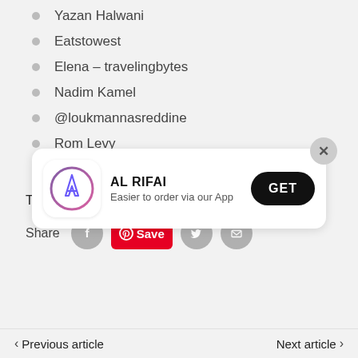Yazan Halwani
Eatstowest
Elena – travelingbytes
Nadim Kamel
@loukmannasreddine
Rom Levy
FatCap
Tags: Art, Culture, Travel
Share
AL RIFAI
Easier to order via our App
Previous article   Next article